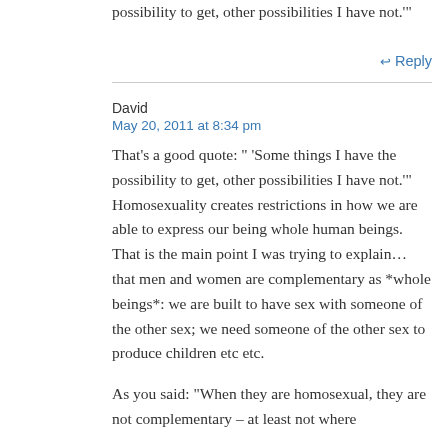possibility to get, other possibilities I have not.'"
↩ Reply
David
May 20, 2011 at 8:34 pm
That's a good quote: " 'Some things I have the possibility to get, other possibilities I have not.'" Homosexuality creates restrictions in how we are able to express our being whole human beings. That is the main point I was trying to explain… that men and women are complementary as *whole beings*: we are built to have sex with someone of the other sex; we need someone of the other sex to produce children etc etc.

As you said: "When they are homosexual, they are not complementary – at least not where